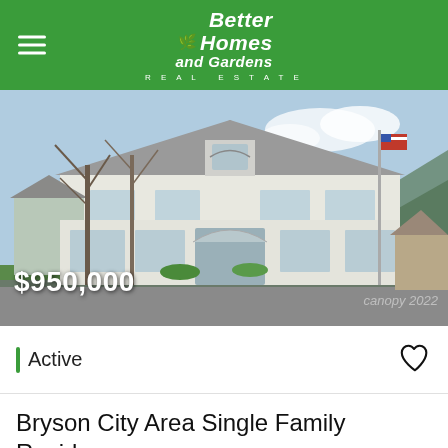Better Homes and Gardens REAL ESTATE
[Figure (photo): Exterior photo of a two-story white Colonial-style single family home with a gray shingle roof, arched front entry, wraparound porch, large trees in front, an American flag on a flagpole, and mountains in the background. Price overlay: $950,000. Watermark: canopy 2022.]
Active
Bryson City Area Single Family Residence